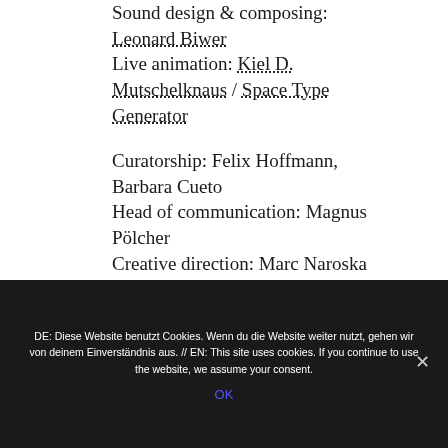Speaker: Caroline Tyka
Sound design & composing: Leonard Biwer
Live animation: Kiel D. Mutschelknaus / Space Type Generator

Curatorship: Felix Hoffmann, Barbara Cueto
Head of communication: Magnus Pölcher
Creative direction: Marc Naroska
DE: Diese Website benutzt Cookies. Wenn du die Website weiter nutzt, gehen wir von deinem Einverständnis aus. // EN: This site uses cookies. If you continue to use the website, we assume your consent.
OK